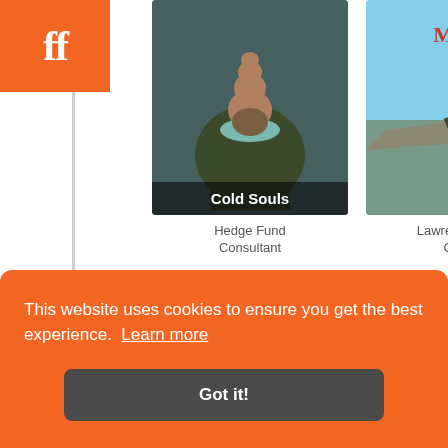[Figure (logo): Fandango/Filmaffinity orange logo with white 'ff' letters]
[Figure (photo): Movie poster for 'Cold Souls' showing stacked abstract figure]
[Figure (photo): Movie poster for 'A Serious Man' showing man on rooftop with text 'MAN']
Hedge Fund Consultant
Lawrence 'Larry' Gopnik
2008  Aged 40
[Figure (photo): PBS Home Video movie poster partially visible]
[Figure (photo): AFTERSCHOOL orange movie poster partially visible]
This website uses cookies to ensure you get the best experience.  Learn more
Got it!